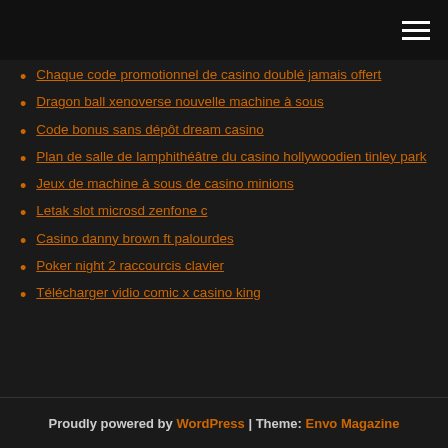[hamburger menu icon]
Chaque code promotionnel de casino doublé jamais offert
Dragon ball xenoverse nouvelle machine à sous
Code bonus sans dépôt dream casino
Plan de salle de lamphithéâtre du casino hollywoodien tinley park
Jeux de machine à sous de casino minions
Letak slot microsd zenfone c
Casino danny brown ft palourdes
Poker night 2 raccourcis clavier
Télécharger vidio comic x casino king
Proudly powered by WordPress | Theme: Envo Magazine